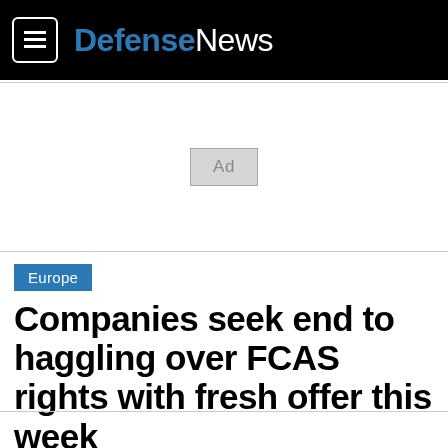Defense News
[Figure (other): Ad placeholder box with text 'Ad']
Europe
Companies seek end to haggling over FCAS rights with fresh offer this week